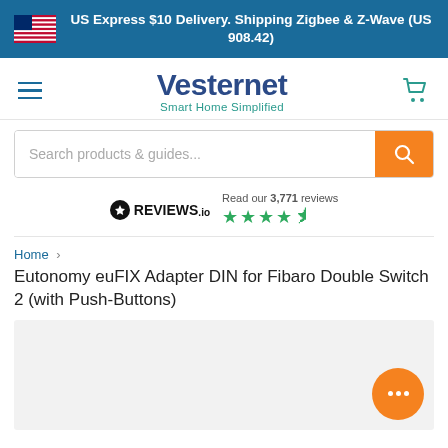US Express $10 Delivery. Shipping Zigbee & Z-Wave (US 908.42)
[Figure (logo): Vesternet Smart Home Simplified logo with hamburger menu and cart icon]
Search products & guides...
[Figure (logo): REVIEWS.io logo with star rating. Read our 3,771 reviews. 4.5 stars.]
Home > Eutonomy euFIX Adapter DIN for Fibaro Double Switch 2 (with Push-Buttons)
[Figure (photo): Product image area - light grey background with orange chat bubble in bottom right corner showing ellipsis dots]